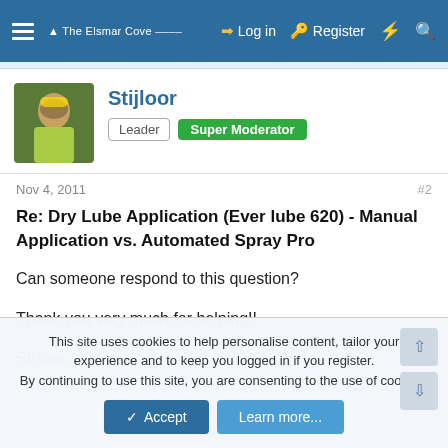The Elsmar Cove — Log in | Register
[Figure (photo): Avatar photo of user Stijloor, cycling photo]
Stijloor
Leader | Super Moderator
Nov 4, 2011  #2
Re: Dry Lube Application (Ever lube 620) - Manual Application vs. Automated Spray Pro
Can someone respond to this question?
Thank you very much for helping!!
Stijloor.
This site uses cookies to help personalise content, tailor your experience and to keep you logged in if you register.
By continuing to use this site, you are consenting to the use of cookies.